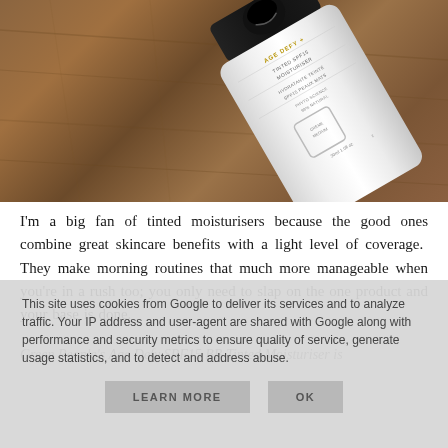[Figure (photo): A white bottle of Green People Age Defy+ Tinted SPF15 Moisturiser lying on a wooden surface at an angle, showing the product label with text including AGE DEFY+, TINTED SPF15 MOISTURISER, HYDRATANTE TEINTE SPF15 PEAUX MATES, PHYTO SCIENCE 99% NATURAL, CREME MEDIUM, 30ml 1.0 fl oz]
I'm a big fan of tinted moisturisers because the good ones combine great skincare benefits with a light level of coverage. They make morning routines that much more manageable when you're in a rush too; you only need to slap on the one product and your base is done.
Green People's Age Defy SPF15 BB Tinted Moisturiser is
This site uses cookies from Google to deliver its services and to analyze traffic. Your IP address and user-agent are shared with Google along with performance and security metrics to ensure quality of service, generate usage statistics, and to detect and address abuse.